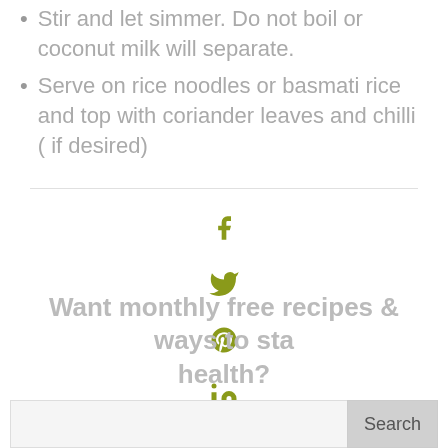Stir and let simmer. Do not boil or coconut milk will separate.
Serve on rice noodles or basmati rice and top with coriander leaves and chilli ( if desired)
[Figure (infographic): Social media share icons: Facebook, Twitter, Pinterest, LinkedIn in olive green color]
Want monthly free recipes & ways to stay healthy?
Search